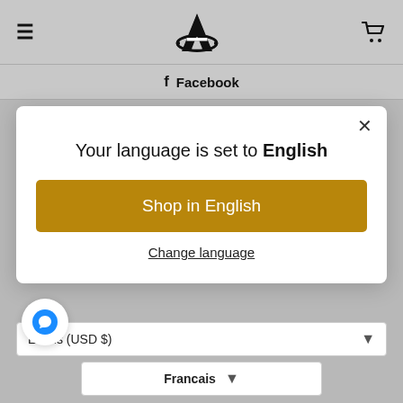[Figure (screenshot): Website header with hamburger menu icon on left, stylized 'A' logo in center, and shopping cart icon on right, on gray background]
f  Facebook
Your language is set to English
Shop in English
Change language
États-Unis (USD $)
Francais